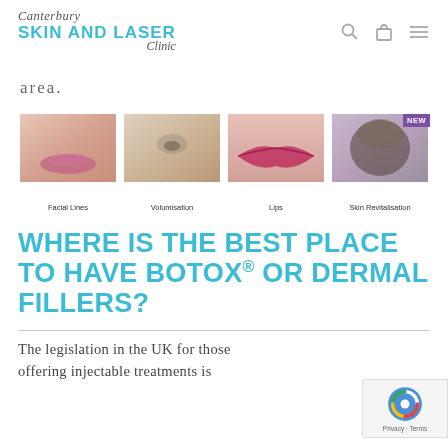Canterbury Skin and Laser Clinic
area.
[Figure (photo): Four thumbnail images showing treatment categories: Facial Lines, Volumisation, Lips, Skin Revitalisation (with NEW badge)]
WHERE IS THE BEST PLACE TO HAVE BOTOX® OR DERMAL FILLERS?
The legislation in the UK for those offering injectable treatments is